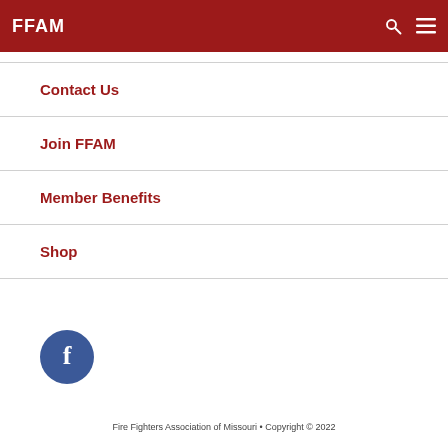FFAM
Contact Us
Join FFAM
Member Benefits
Shop
[Figure (logo): Facebook icon — circular dark blue button with white letter f]
Fire Fighters Association of Missouri • Copyright © 2022